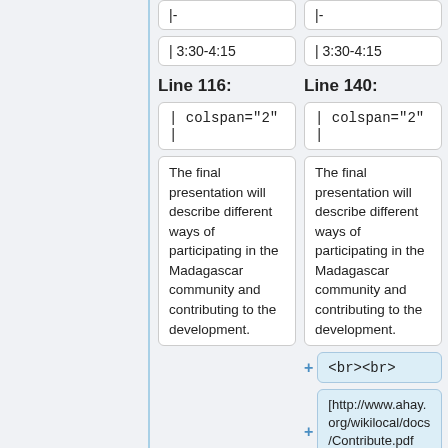|-
|-
| 3:30-4:15
| 3:30-4:15
Line 116:
Line 140:
| colspan="2"  |
| colspan="2"  |
The final presentation will describe different ways of participating in the Madagascar community and contributing to the development.
The final presentation will describe different ways of participating in the Madagascar community and contributing to the development.
<br><br>
[http://www.ahay.org/wikilocal/docs/Contribute.pdf Slides] (5.6M)